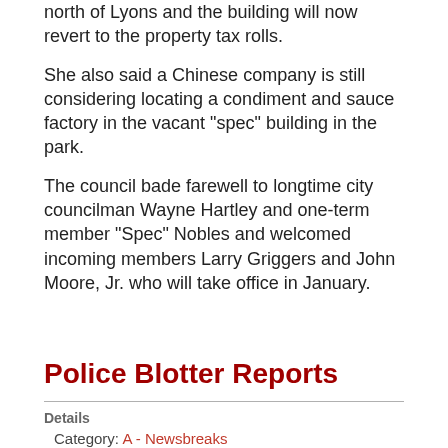north of Lyons and the building will now revert to the property tax rolls.
She also said a Chinese company is still considering locating a condiment and sauce factory in the vacant "spec" building in the park.
The council bade farewell to longtime city councilman Wayne Hartley and one-term member "Spec" Nobles and welcomed incoming members Larry Griggers and John Moore, Jr. who will take office in January.
Police Blotter Reports
Details
Category: A - Newsbreaks
Published: 05 December 2017
Hits: 2147
December 5--  Vidalia Police Chief Frank